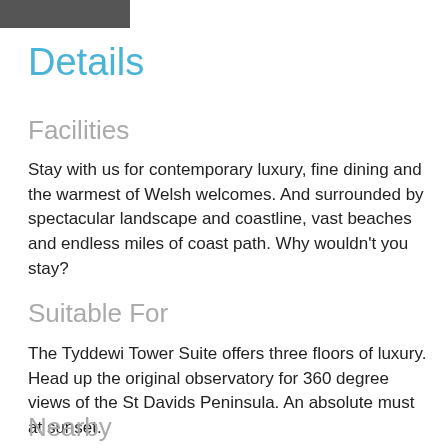[Figure (photo): Partial photo visible at top of page, dark tones]
Details
Facilities
Stay with us for contemporary luxury, fine dining and the warmest of Welsh welcomes. And surrounded by spectacular landscape and coastline, vast beaches and endless miles of coast path. Why wouldn't you stay?
Suitable For
The Tyddewi Tower Suite offers three floors of luxury. Head up the original observatory for 360 degree views of the St Davids Peninsula. An absolute must at sunset.
Nearby